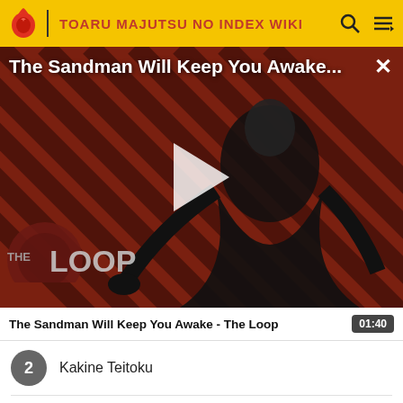TOARU MAJUTSU NO INDEX WIKI
[Figure (screenshot): Video player showing 'The Sandman Will Keep You Awake...' with a play button overlay, featuring a dark figure in a cape against a red diagonal striped background with 'THE LOOP' logo at bottom left]
The Sandman Will Keep You Awake - The Loop  01:40
2  Kakine Teitoku
3  Misaka Worst